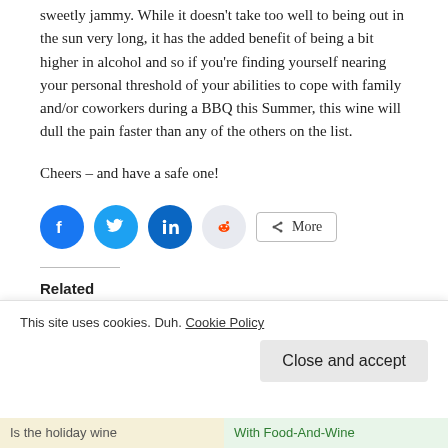sweetly jammy. While it doesn't take too well to being out in the sun very long, it has the added benefit of being a bit higher in alcohol and so if you're finding yourself nearing your personal threshold of your abilities to cope with family and/or coworkers during a BBQ this Summer, this wine will dull the pain faster than any of the others on the list.
Cheers – and have a safe one!
[Figure (infographic): Social share buttons: Facebook (blue circle), Twitter (cyan circle), LinkedIn (blue circle), Reddit (light grey circle), and a More button with share icon]
Related
Has Holiday Wine
This site uses cookies. Duh. Cookie Policy
Close and accept
Is the holiday wine
With Food-And-Wine